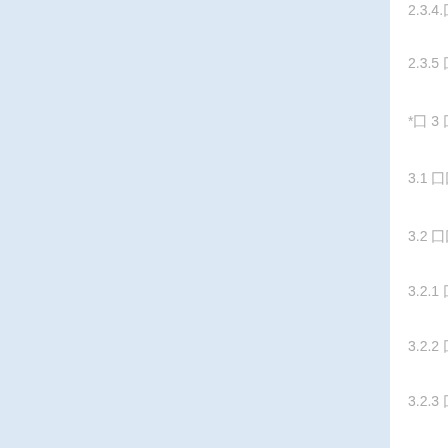2.3.4.囗囗囗囗囗囗囗囗囗 16
2.3.5 囗囗囗囗囗囗囗囗囗囗 .........17
*囗 3 囗 囗囗囗囗 ....18
3.1 囗囗囗囗 .18
3.2 囗囗囗囗 .19
3.2.1 囗囗囗囗 .........19
3.2.2 囗囗囗囗囗 .....19
3.2.3 囗囗囗囗囗囗囗 19
3.2.4 囗囗囗 20
3.3 囗囗囗囗 20